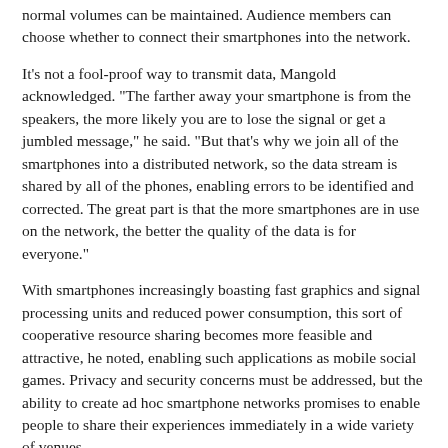normal volumes can be maintained. Audience members can choose whether to connect their smartphones into the network.
It's not a fool-proof way to transmit data, Mangold acknowledged. "The farther away your smartphone is from the speakers, the more likely you are to lose the signal or get a jumbled message," he said. "But that's why we join all of the smartphones into a distributed network, so the data stream is shared by all of the phones, enabling errors to be identified and corrected. The great part is that the more smartphones are in use on the network, the better the quality of the data is for everyone."
With smartphones increasingly boasting fast graphics and signal processing units and reduced power consumption, this sort of cooperative resource sharing becomes more feasible and attractive, he noted, enabling such applications as mobile social games. Privacy and security concerns must be addressed, but the ability to create ad hoc smartphone networks promises to enable people to share their experiences immediately in a wide variety of venues.